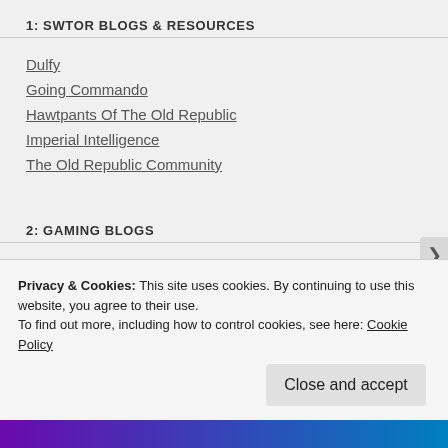1: SWTOR BLOGS & RESOURCES
Dulfy
Going Commando
Hawtpants Of The Old Republic
Imperial Intelligence
The Old Republic Community
2: GAMING BLOGS
Bio Break
Privacy & Cookies: This site uses cookies. By continuing to use this website, you agree to their use.
To find out more, including how to control cookies, see here: Cookie Policy
Close and accept